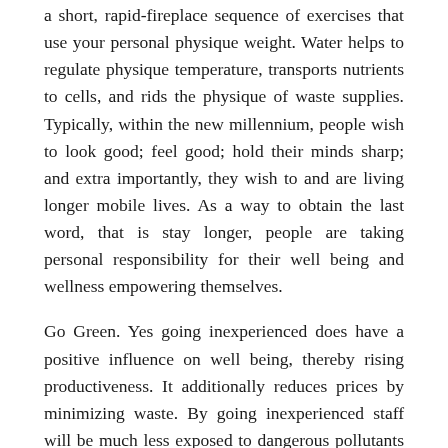a short, rapid-fireplace sequence of exercises that use your personal physique weight. Water helps to regulate physique temperature, transports nutrients to cells, and rids the physique of waste supplies. Typically, within the new millennium, people wish to look good; feel good; hold their minds sharp; and extra importantly, they wish to and are living longer mobile lives. As a way to obtain the last word, that is stay longer, people are taking personal responsibility for their well being and wellness empowering themselves.
Go Green. Yes going inexperienced does have a positive influence on well being, thereby rising productiveness. It additionally reduces prices by minimizing waste. By going inexperienced staff will be much less exposed to dangerous pollutants that in the long run could have harmful results on well being. You can take steps to get a inexperienced environment by monitoring the buildings' air quality, temperature, lighting, humidity, and pollutant